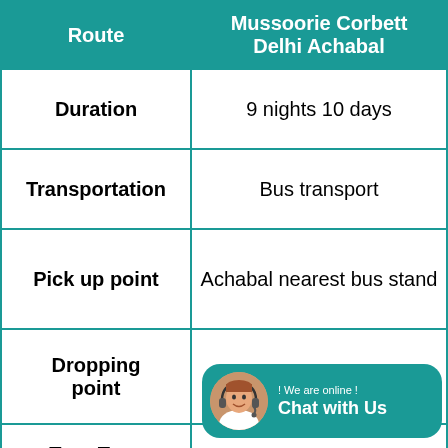| Route | Mussoorie Corbett Delhi Achabal |
| --- | --- |
| Duration | 9 nights 10 days |
| Transportation | Bus transport |
| Pick up point | Achabal nearest bus stand |
| Dropping point | Achabal nearest bus |
| Tour Type |  |